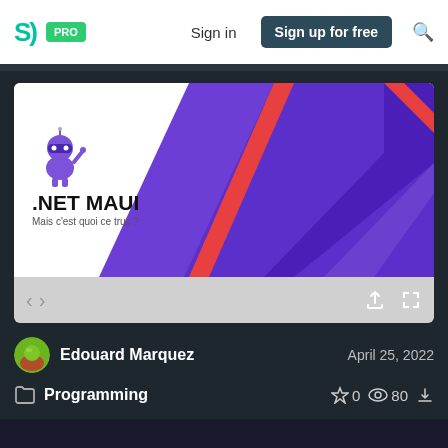SpeakerDeck - PRO | Sign in | Sign up for free
[Figure (screenshot): .NET MAUI slide preview showing 'Mais c'est quoi ce truc?' with purple geometric background and robot mascot]
Edouard Marquez — April 25, 2022
Programming — 0 stars, 80 views